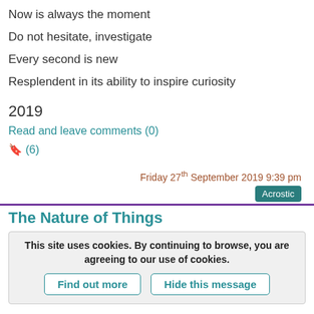Now is always the moment
Do not hesitate, investigate
Every second is new
Resplendent in its ability to inspire curiosity
2019
Read and leave comments (0)
🔖 (6)
Friday 27th September 2019 9:39 pm
Acrostic
The Nature of Things
This site uses cookies. By continuing to browse, you are agreeing to our use of cookies.
Find out more
Hide this message